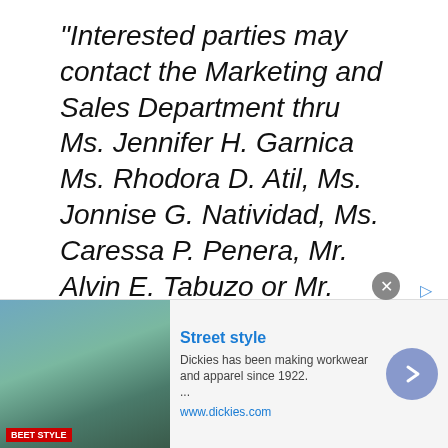“Interested parties may contact the Marketing and Sales Department thru Ms. Jennifer H. Garnica Ms. Rhodora D. Atil, Ms. Jonnise G. Natividad, Ms. Caressa P. Penera, Mr. Alvin E. Tabuzo or Mr. Anton Joe L. Movilla at tel. nos. (02) 8654-9244. You may also email your inquiries for further details at
[Figure (other): Green share button with plus icon and SHARE label]
[Figure (other): Advertisement banner for Dickies Street style with thumbnail image, text and arrow button]